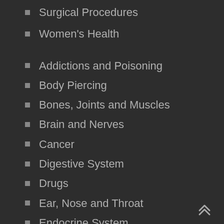Surgical Procedures
Women's Health
Addictions and Poisoning
Body Piercing
Bones, Joints and Muscles
Brain and Nerves
Cancer
Digestive System
Drugs
Ear, Nose and Throat
Endocrine System
Eyes and Vision
Food, Nutrition and Diet
Genetics and Birth Defects